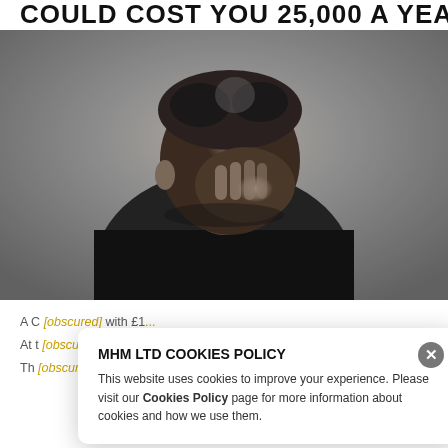COULD COST YOU 25,000 A YEAR
[Figure (photo): Black and white photograph of a middle-aged man with messy hair, head bowed and hand covering his face in a stressed or distressed pose, wearing a dark jacket.]
A C [partially obscured] with £1...
At t [partially obscured]
Th [partially obscured] is inspired to... important for so beco... itioned for
MHM LTD COOKIES POLICY
This website uses cookies to improve your experience. Please visit our Cookies Policy page for more information about cookies and how we use them.